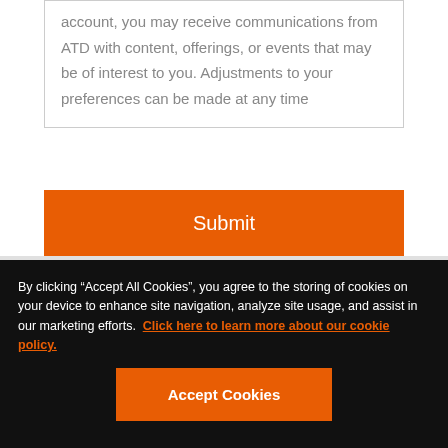account, you may receive communications from ATD with content, offerings, or events that may be of interest to you. Adjustments to your preferences can be made at any time
Submit
By clicking “Accept All Cookies”, you agree to the storing of cookies on your device to enhance site navigation, analyze site usage, and assist in our marketing efforts. Click here to learn more about our cookie policy.
Accept Cookies